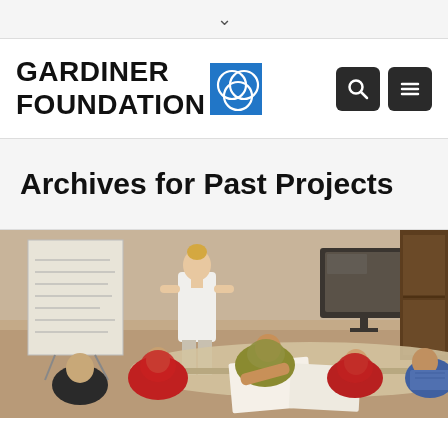▾
[Figure (logo): Gardiner Foundation logo with text GARDINER FOUNDATION and blue square icon with overlapping circles]
Archives for Past Projects
[Figure (photo): Workshop or classroom scene showing several people sitting around a table. A blonde woman stands near a flip chart/whiteboard on the left. Several women wearing hijabs (red, olive/yellow) are seated looking down at papers on the table. A man in a batik shirt sits on the right. A TV/monitor screen is visible in the background.]